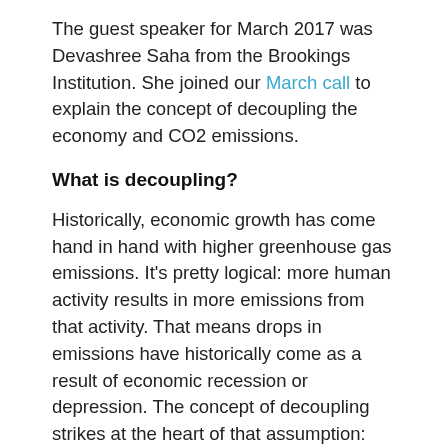The guest speaker for March 2017 was Devashree Saha from the Brookings Institution. She joined our March call to explain the concept of decoupling the economy and CO2 emissions.
What is decoupling?
Historically, economic growth has come hand in hand with higher greenhouse gas emissions. It's pretty logical: more human activity results in more emissions from that activity. That means drops in emissions have historically come as a result of economic recession or depression. The concept of decoupling strikes at the heart of that assumption: economic growth and increased carbon dioxide emissions don't have to be linked. “In recent years, more and more data confirm